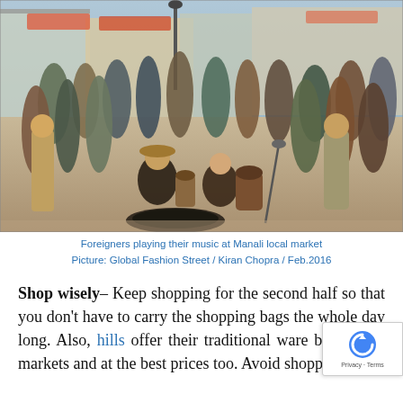[Figure (photo): Foreigners playing music at a local market in Manali. Street performers playing drums and other instruments, surrounded by a crowd of onlookers.]
Foreigners playing their music at Manali local market
Picture: Global Fashion Street / Kiran Chopra / Feb.2016
Shop wisely– Keep shopping for the second half so that you don't have to carry the shopping bags the whole day long. Also, hills offer their traditional ware best in the markets and at the best prices too. Avoid shopping at